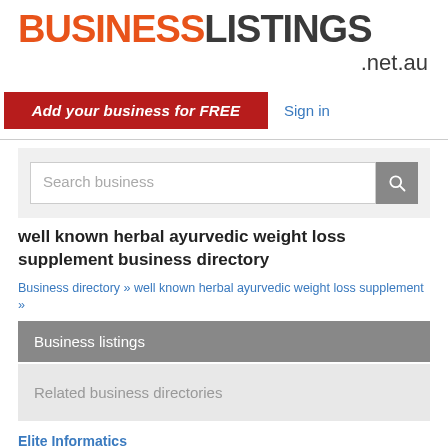[Figure (logo): BusinessListings.net.au logo — BUSINESS in orange bold, LISTINGS in dark gray bold, .net.au below right in smaller text]
Add your business for FREE
Sign in
Search business
well known herbal ayurvedic weight loss supplement business directory
Business directory » well known herbal ayurvedic weight loss supplement »
Business listings
Related business directories
Elite Informatics